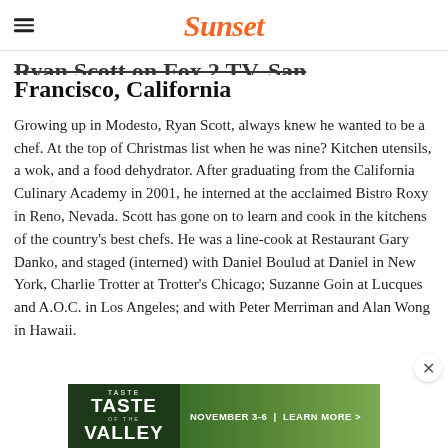Sunset
Ryan Scott on Fox 2 TV, San Francisco, California
Growing up in Modesto, Ryan Scott, always knew he wanted to be a chef. At the top of Christmas list when he was nine? Kitchen utensils, a wok, and a food dehydrator. After graduating from the California Culinary Academy in 2001, he interned at the acclaimed Bistro Roxy in Reno, Nevada. Scott has gone on to learn and cook in the kitchens of the country's best chefs. He was a line-cook at Restaurant Gary Danko, and staged (interned) with Daniel Boulud at Daniel in New York, Charlie Trotter at Trotter's Chicago; Suzanne Goin at Lucques and A.O.C. in Los Angeles; and with Peter Merriman and Alan Wong in Hawaii.
[Figure (photo): Advertisement banner for Taste of the Valley event, November 3-6, with a landscape photo of rolling hills and oak trees in background. Green themed banner with white text.]